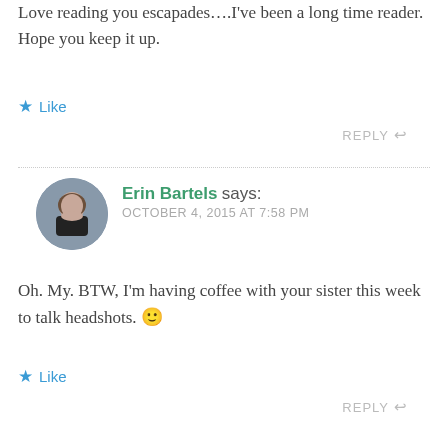Love reading you escapades….I've been a long time reader. Hope you keep it up.
Like
REPLY
Erin Bartels says:
OCTOBER 4, 2015 AT 7:58 PM
Oh. My. BTW, I'm having coffee with your sister this week to talk headshots. 🙂
Like
REPLY